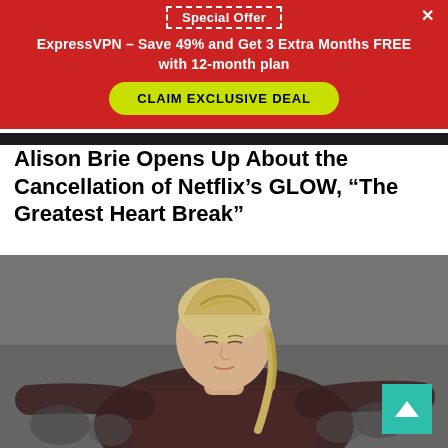Special Offer
ExpressVPN - Save 49% and Get 3 Extra Months FREE with 12-month plan
CLAIM EXCLUSIVE DEAL
Alison Brie Opens Up About the Cancellation of Netflix’s GLOW, “The Greatest Heart Break”
[Figure (photo): A blonde woman with a braided hairstyle looking downward, wearing a dark patterned coat, with blurred crowd in background. Scene appears to be from a TV show or film.]